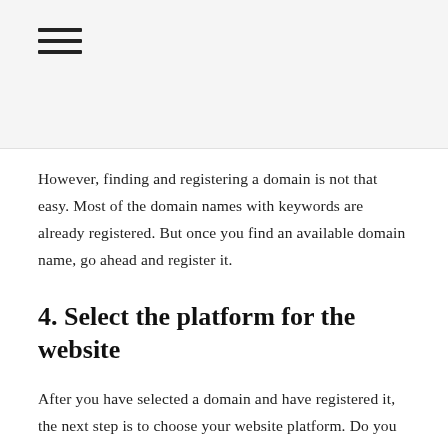[Figure (other): Hamburger menu icon (three horizontal lines)]
However, finding and registering a domain is not that easy. Most of the domain names with keywords are already registered. But once you find an available domain name, go ahead and register it.
4. Select the platform for the website
After you have selected a domain and have registered it, the next step is to choose your website platform. Do you want to use a Web builder such as WordPress to get started? However, it is a little more complicated than web builders. But with some searches, you